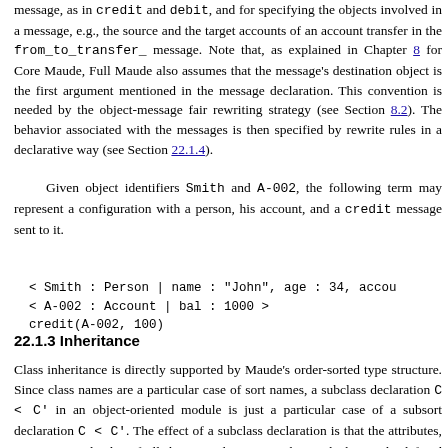message, as in credit and debit, and for specifying the objects involved in a message, e.g., the source and the target accounts of an account transfer in the from_to_transfer_ message. Note that, as explained in Chapter 8 for Core Maude, Full Maude also assumes that the message's destination object is the first argument mentioned in the message declaration. This convention is needed by the object-message fair rewriting strategy (see Section 8.2). The behavior associated with the messages is then specified by rewrite rules in a declarative way (see Section 22.1.4).
Given object identifiers Smith and A-002, the following term may represent a configuration with a person, his account, and a credit message sent to it.
22.1.3 Inheritance
Class inheritance is directly supported by Maude's order-sorted type structure. Since class names are a particular case of sort names, a subclass declaration C < C' in an object-oriented module is just a particular case of a subsort declaration C < C'. The effect of a subclass declaration is that the attributes, messages, and rules of all the superclasses, together with the newly defined attributes